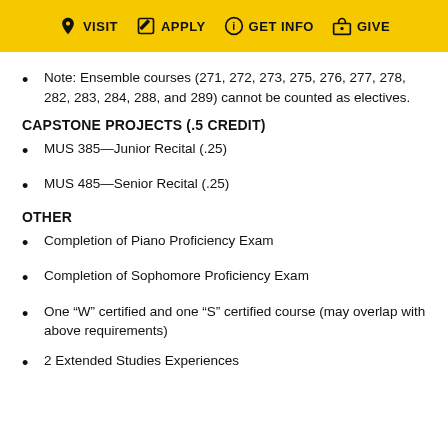VISIT  APPLY  GET INFO  GIVE
Note: Ensemble courses (271, 272, 273, 275, 276, 277, 278, 282, 283, 284, 288, and 289) cannot be counted as electives.
CAPSTONE PROJECTS (.5 CREDIT)
MUS 385—Junior Recital (.25)
MUS 485—Senior Recital (.25)
OTHER
Completion of Piano Proficiency Exam
Completion of Sophomore Proficiency Exam
One “W” certified and one “S” certified course (may overlap with above requirements)
2 Extended Studies Experiences